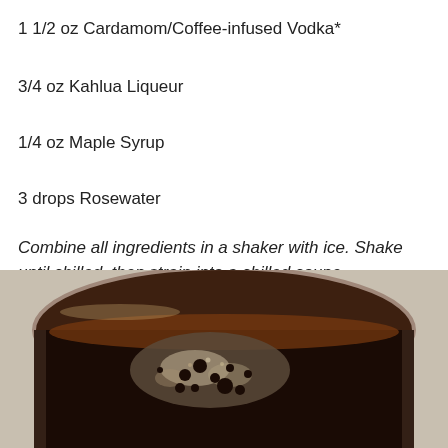1 1/2 oz Cardamom/Coffee-infused Vodka*
3/4 oz Kahlua Liqueur
1/4 oz Maple Syrup
3 drops Rosewater
Combine all ingredients in a shaker with ice. Shake until chilled, then strain into a chilled coupe.
[Figure (photo): Close-up photo of a dark coffee/cocktail drink in a glass coupe, with foam and bubbles on the surface, viewed from above at an angle. The background is a light grey surface.]